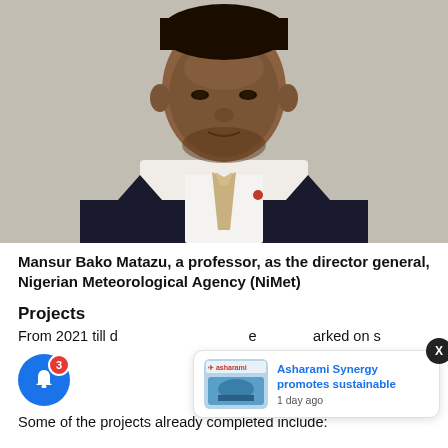[Figure (photo): Portrait photo of Mansur Bako Matazu, a man in a dark suit with a beige/gold tie, white checkered shirt, against a light gray background.]
Mansur Bako Matazu, a professor, as the director general, Nigerian Meteorological Agency (NiMet)
Projects
From 2021 till d... embarked on s...
Some of the projects already completed include: